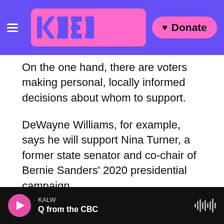KQED / Donate
On the one hand, there are voters making personal, locally informed decisions about whom to support.
DeWayne Williams, for example, says he will support Nina Turner, a former state senator and co-chair of Bernie Sanders' 2020 presidential campaign.
"[She's] definitely got my vote, you know, my family vote. You know, my mom, a couple of older people have supported her throughout the years," said
KALW
Q from the CBC